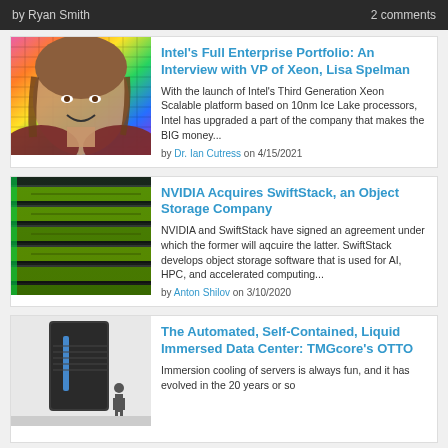by Ryan Smith  |  2 comments
[Figure (photo): Woman smiling in front of colorful iridescent semiconductor wafers]
Intel's Full Enterprise Portfolio: An Interview with VP of Xeon, Lisa Spelman
With the launch of Intel's Third Generation Xeon Scalable platform based on 10nm Ice Lake processors, Intel has upgraded a part of the company that makes the BIG money...
by Dr. Ian Cutress on 4/15/2021
[Figure (photo): Green GPU or accelerator cards in a data center rack with green LED lighting]
NVIDIA Acquires SwiftStack, an Object Storage Company
NVIDIA and SwiftStack have signed an agreement under which the former will aqcuire the latter. SwiftStack develops object storage software that is used for AI, HPC, and accelerated computing...
by Anton Shilov on 3/10/2020
[Figure (photo): Tall black server enclosure unit with a person standing next to it for scale]
The Automated, Self-Contained, Liquid Immersed Data Center: TMGcore's OTTO
Immersion cooling of servers is always fun, and it has evolved in the 20 years or so